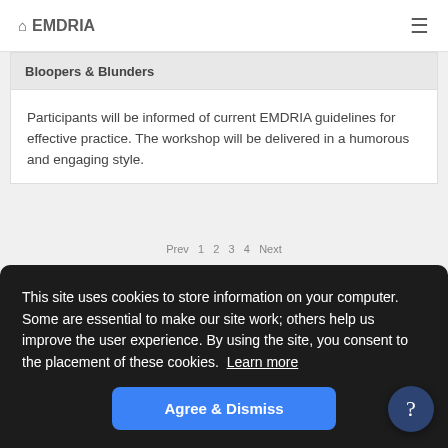🏠 EMDRIA  ≡
Bloopers & Blunders
Participants will be informed of current EMDRIA guidelines for effective practice. The workshop will be delivered in a humorous and engaging style.
This site uses cookies to store information on your computer. Some are essential to make our site work; others help us improve the user experience. By using the site, you consent to the placement of these cookies. Learn more
Agree & Dismiss